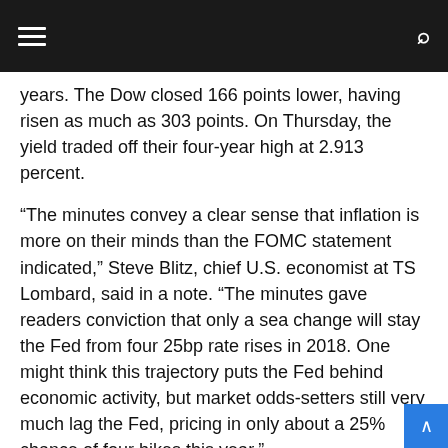Navigation bar with hamburger menu and search icon
years. The Dow closed 166 points lower, having risen as much as 303 points. On Thursday, the yield traded off their four-year high at 2.913 percent.
“The minutes convey a clear sense that inflation is more on their minds than the FOMC statement indicated,” Steve Blitz, chief U.S. economist at TS Lombard, said in a note. “The minutes gave readers conviction that only a sea change will stay the Fed from four 25bp rate rises in 2018. One might think this trajectory puts the Fed behind economic activity, but market odds-setters still very much lag the Fed, pricing in only about a 25% chance of four hikes this year.”
Investors will get more news out of the Fed on Thursday, as Atlanta Fed President Raphael Bostic and Dallas Fed President Rob Kaplan are all due to deliver remarks. New York Fed